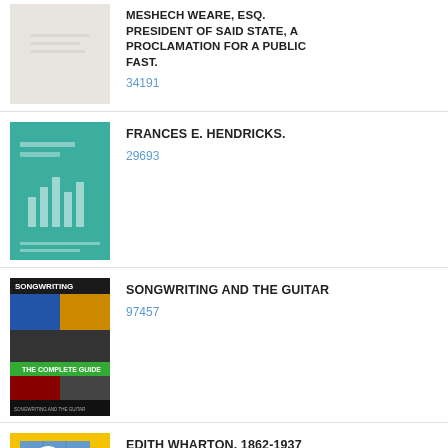[Figure (photo): Book cover - plain beige/cream colored cover for proclamation document]
MESHECH WEARE, ESQ. PRESIDENT OF SAID STATE, A PROCLAMATION FOR A PUBLIC FAST.
34191
[Figure (photo): Book cover - teal/green background with bar chart graphics for Frances E. Hendricks]
FRANCES E. HENDRICKS.
29693
[Figure (photo): Book cover - Songwriting and the Guitar: The Complete Guide, colorful collage cover]
SONGWRITING AND THE GUITAR
97457
[Figure (photo): Book cover - yellow background with blue cube and white clouds, Edith Wharton 1862-1937]
EDITH WHARTON, 1862-1937
32343